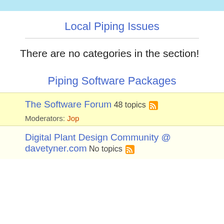Local Piping Issues
There are no categories in the section!
Piping Software Packages
The Software Forum 48 topics
Moderators: Jop
Digital Plant Design Community @ davetyner.com No topics